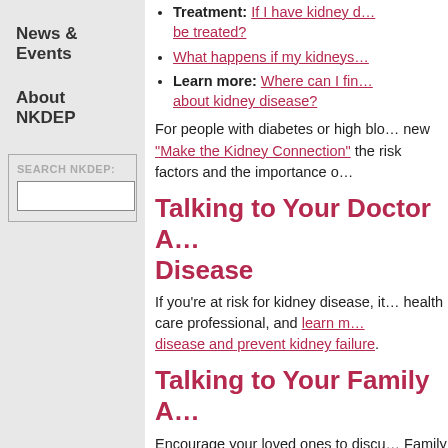Treatment: If I have kidney d… be treated?
What happens if my kidneys…
Learn more: Where can I fi… about kidney disease?
For people with diabetes or high blo… new "Make the Kidney Connection" the risk factors and the importance o…
Talking to Your Doctor A… Disease
If you're at risk for kidney disease, it… health care professional, and learn m… disease and prevent kidney failure.
Talking to Your Family A…
Encourage your loved ones to discu… Family Reunion Initiative section to … your family.
Even if only one person in your fam… for kidney disease. Learn why it's so…
Resources
Educational materials, including vide…
News & Events
About NKDEP